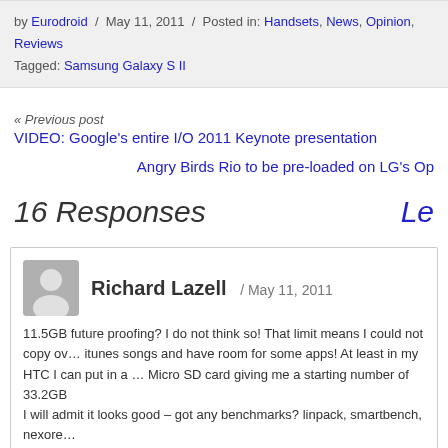by Eurodroid / May 11, 2011 / Posted in: Handsets, News, Opinion, Reviews
Tagged: Samsung Galaxy S II
« Previous post
VIDEO: Google's entire I/O 2011 Keynote presentation
Angry Birds Rio to be pre-loaded on LG's Op…
16 Responses
Richard Lazell / May 11, 2011
11.5GB future proofing? I do not think so! That limit means I could not copy ov… itunes songs and have room for some apps! At least in my HTC I can put in a … Micro SD card giving me a starting number of 33.2GB
I will admit it looks good – got any benchmarks? linpack, smartbench, nexore…